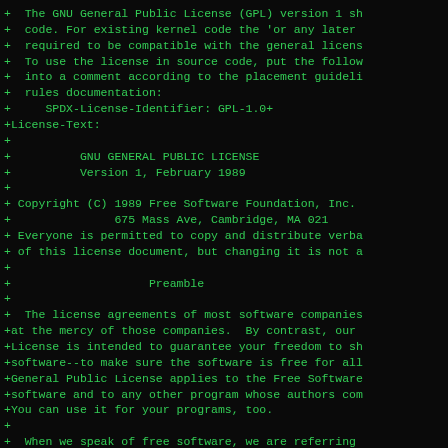+ The GNU General Public License (GPL) version 1 sh
+ code. For existing kernel code the 'or any later
+ required to be compatible with the general licens
+ To use the license in source code, put the follow
+ into a comment according to the placement guideli
+ rules documentation:
+     SPDX-License-Identifier: GPL-1.0+
+License-Text:
+
+          GNU GENERAL PUBLIC LICENSE
+          Version 1, February 1989
+
+ Copyright (C) 1989 Free Software Foundation, Inc.
+               675 Mass Ave, Cambridge, MA 021
+ Everyone is permitted to copy and distribute verba
+ of this license document, but changing it is not a
+
+                    Preamble
+
+  The license agreements of most software companies
+at the mercy of those companies.  By contrast, our
+License is intended to guarantee your freedom to sh
+software--to make sure the software is free for all
+General Public License applies to the Free Software
+software and to any other program whose authors com
+You can use it for your programs, too.
+
+  When we speak of free software, we are referring
+price.  Specifically, the General Public License is
+sure that you have the freedom to give away or sell